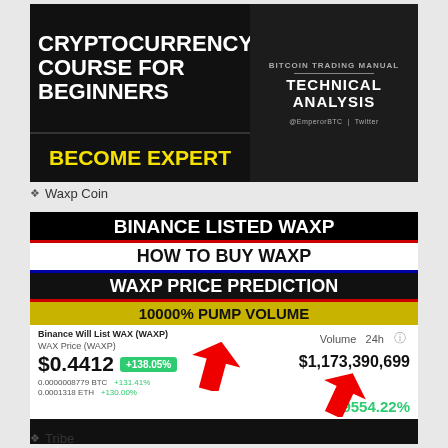[Figure (illustration): Two side-by-side promotional banners. Left: dark background with white bold text 'CRYPTOCURRENCY COURSE FOR BEGINNERS' and yellow bold text 'BECOME EXPERT'. Right: dark background with man in suit, text 'BITCOIN TRADING MANUAL TECHNICAL ANALYSIS @EmperorBTC | Twitter'.]
✦ Waxp Coin
[Figure (infographic): Dark promotional banner with text: 'BINANCE LISTED WAXP', 'HOW TO BUY WAXP', 'WAXP PRICE PREDICTION', '10000% PUMP VOLUME'. Below shows WAX price info: $0.4412 with +138.05% badge, volume $1,173,390,699, 9554.22% increase, BTC and ETH conversion rates. Red arrows pointing to green badge and volume percentage.]
✦ Tribe